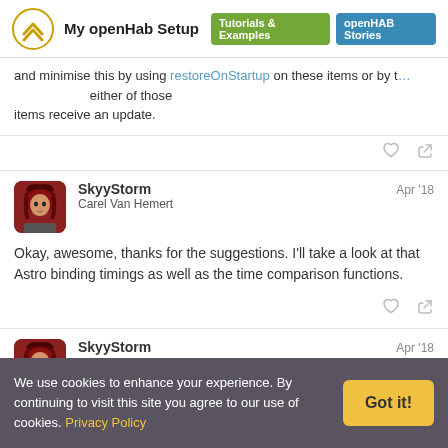My openHab Setup — Tutorials & Examples | openHAB Stories
...and minimise this by using restoreOnStartup on these items or by triggering a re-evaluation whenever either of those items receive an update.
SkyyStorm  Apr '18
Carel Van Hemert
Okay, awesome, thanks for the suggestions. I'll take a look at that Astro binding timings as well as the time comparison functions.
SkyyStorm  Apr '18
We use cookies to enhance your experience. By continuing to visit this site you agree to our use of cookies. Privacy Policy